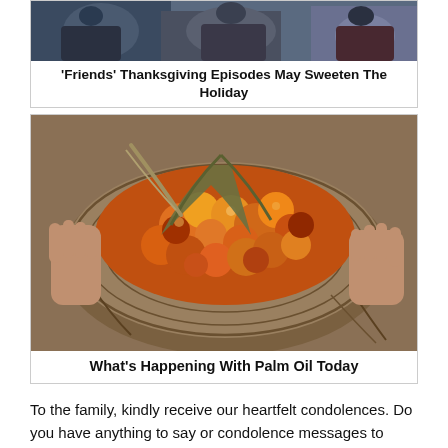[Figure (photo): Photo of people sitting, partial view, related to Friends TV show Thanksgiving episode article]
'Friends' Thanksgiving Episodes May Sweeten The Holiday
[Figure (photo): Close-up photo of hands holding a large woven basket filled with palm oil fruits (red and orange drupes)]
What's Happening With Palm Oil Today
To the family, kindly receive our heartfelt condolences. Do you have anything to say or condolence messages to share. Feel free to use the comment section below, Friends and Family has shown their sympathy by sharing their grieving message